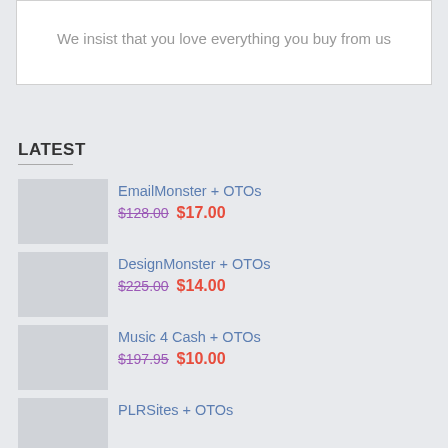We insist that you love everything you buy from us
LATEST
EmailMonster + OTOs — $128.00  $17.00
DesignMonster + OTOs — $225.00  $14.00
Music 4 Cash + OTOs — $197.95  $10.00
PLRSites + OTOs